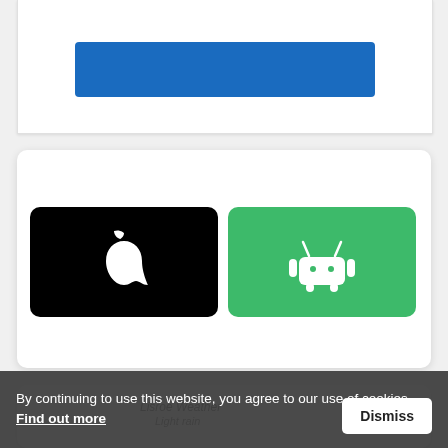[Figure (screenshot): Top card with a blue button element, partially visible at top]
Download our App
[Figure (screenshot): Black rounded rectangle with white Apple logo for iOS app download]
[Figure (screenshot): Green rounded rectangle with white Android robot logo for Android app download]
Weather
Lisroe Weather
Light rain
High: 26°C | Low: 25°C
By continuing to use this website, you agree to our use of cookies. Find out more
Dismiss